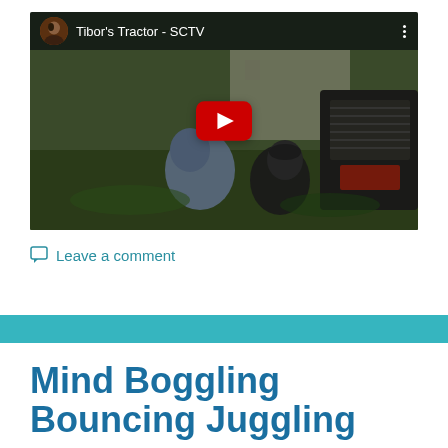[Figure (screenshot): YouTube video thumbnail for 'Tibor's Tractor - SCTV' showing two people near a tractor outdoors, with a red YouTube play button in the center, channel avatar in top-left, and three-dot menu in top-right.]
Leave a comment
Mind Boggling Bouncing Juggling